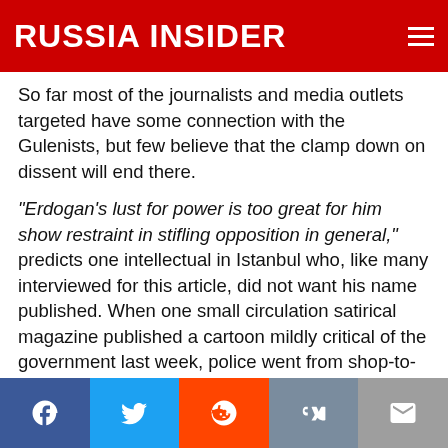RUSSIA INSIDER
So far most of the journalists and media outlets targeted have some connection with the Gulenists, but few believe that the clamp down on dissent will end there.
“Erdogan’s lust for power is too great for him show restraint in stifling opposition in general,” predicts one intellectual in Istanbul who, like many interviewed for this article, did not want his name published. When one small circulation satirical magazine published a cartoon mildly critical of the government last week, police went from shop-to-shop confiscating copies.
Facebook | Twitter | Reddit | VK | Email